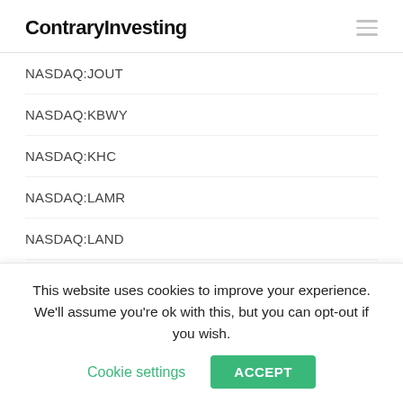ContraryInvesting
NASDAQ:JOUT
NASDAQ:KBWY
NASDAQ:KHC
NASDAQ:LAMR
NASDAQ:LAND
NASDAQ:LRCX
NASDAQ:LSTR
NASDAQ:LULU
NASDAQ:MA
This website uses cookies to improve your experience. We'll assume you're ok with this, but you can opt-out if you wish. Cookie settings ACCEPT